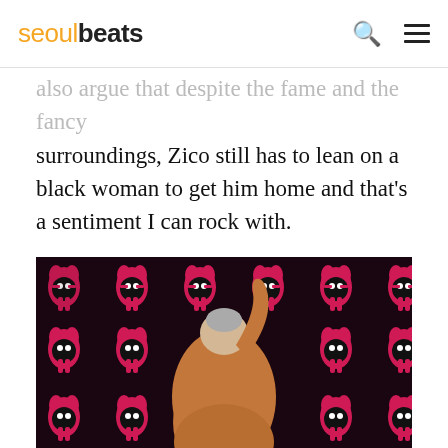seoulbeats
also argue that despite the fame and the fancy surroundings, Zico still has to lean on a black woman to get him home and that's a sentiment I can rock with.
[Figure (photo): A person viewed from behind with arm raised, wearing an orange/brown garment, standing in front of a wall covered in pink and black cartoon character pattern.]
Furthermore, as Zico travels through the lonely highway, we see him pass a pile of gold and ignore a woman trying to get into the car with him. There is a